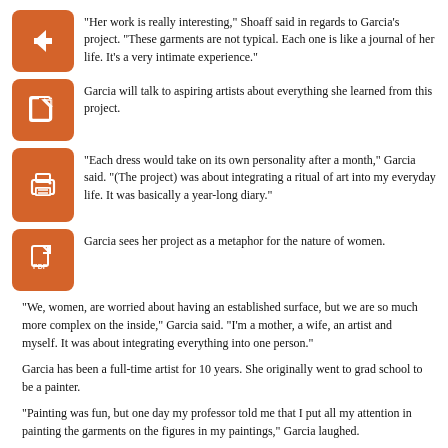“Her work is really interesting,” Shoaff said in regards to Garcia’s project. “These garments are not typical. Each one is like a journal of her life. It’s a very intimate experience.”
Garcia will talk to aspiring artists about everything she learned from this project.
“Each dress would take on its own personality after a month,” Garcia said. “(The project) was about integrating a ritual of art into my everyday life. It was basically a year-long diary.”
Garcia sees her project as a metaphor for the nature of women.
“We, women, are worried about having an established surface, but we are so much more complex on the inside,” Garcia said. “I’m a mother, a wife, an artist and myself. It was about integrating everything into one person.”
Garcia has been a full-time artist for 10 years. She originally went to grad school to be a painter.
“Painting was fun, but one day my professor told me that I put all my attention in painting the garments on the figures in my paintings,” Garcia laughed.